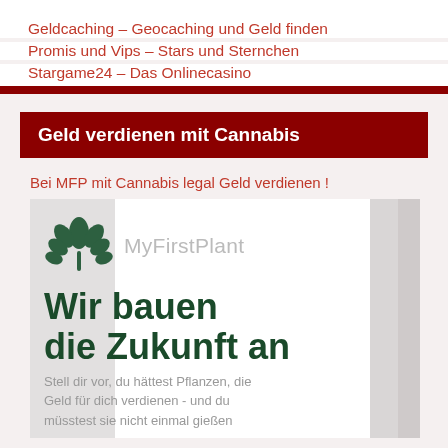Geldcaching – Geocaching und Geld finden
Promis und Vips – Stars und Sternchen
Stargame24 – Das Onlinecasino
Geld verdienen mit Cannabis
Bei MFP mit Cannabis legal Geld verdienen !
[Figure (illustration): MyFirstPlant cannabis leaf logo with brand name and promotional text: Wir bauen die Zukunft an. Stell dir vor, du hättest Pflanzen, die Geld für dich verdienen - und du müsstest sie nicht einmal gießen]